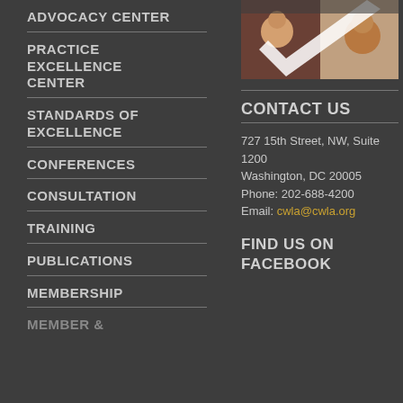[Figure (photo): Collage of children/youth photos with a large white checkmark or cross overlay]
ADVOCACY CENTER
PRACTICE EXCELLENCE CENTER
STANDARDS OF EXCELLENCE
CONFERENCES
CONSULTATION
TRAINING
PUBLICATIONS
MEMBERSHIP
CONTACT US
727 15th Street, NW, Suite 1200
Washington, DC 20005
Phone: 202-688-4200
Email: cwla@cwla.org
FIND US ON FACEBOOK